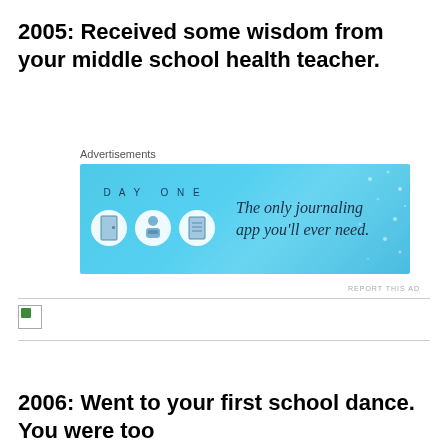2005: Received some wisdom from your middle school health teacher.
[Figure (other): Advertisement banner for Day One journaling app with blue background, app icons, and text 'The only journaling app you'll ever need.']
[Figure (other): Broken image placeholder with small green icon]
2006: Went to your first school dance. You were too